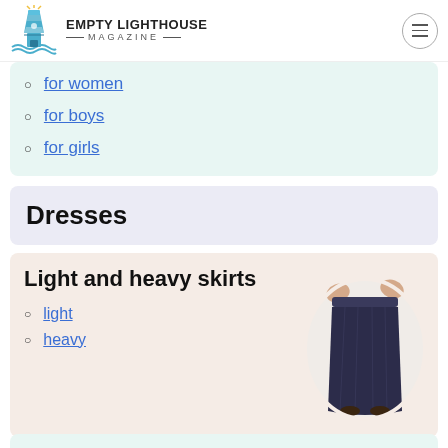Empty Lighthouse Magazine
for women
for boys
for girls
Dresses
Light and heavy skirts
light
heavy
[Figure (photo): A dark navy/denim long skirt displayed on a white oval background, with hands holding it up at the waistband.]